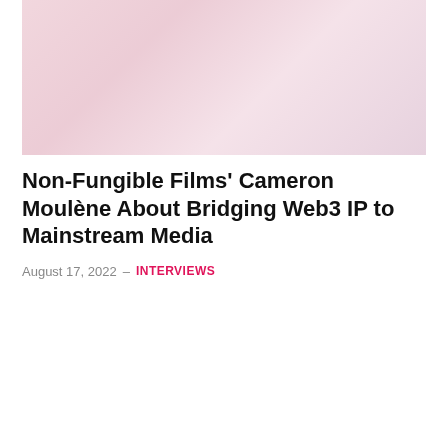[Figure (illustration): Faded illustrated banner image with cartoon/anime style characters on a light pink background]
Non-Fungible Films' Cameron Moulène About Bridging Web3 IP to Mainstream Media
August 17, 2022  –  INTERVIEWS